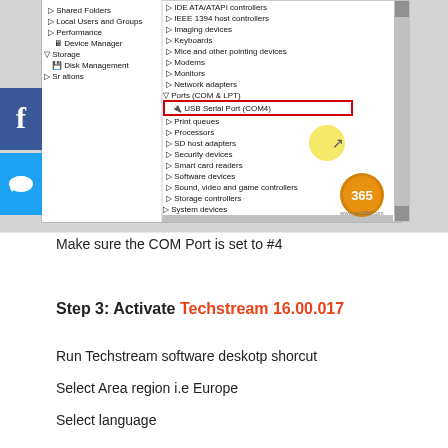[Figure (screenshot): Windows Device Manager screenshot showing USB Serial Port (COM4) highlighted with red rectangle under Ports (COM & LPT), and USB Serial Converter highlighted with red arrow at the bottom of Universal Serial Bus controllers list. Social media share buttons (Facebook, Twitter, Email, Pinterest, Add) visible on left side. 365 watermark visible bottom right.]
Make sure the COM Port is set to #4
Step 3: Activate Techstream 16.00.017
Run Techstream software deskotp shorcut
Select Area region i.e Europe
Select language